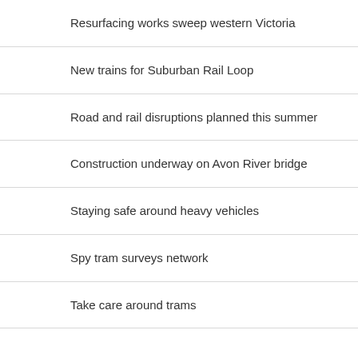Resurfacing works sweep western Victoria
New trains for Suburban Rail Loop
Road and rail disruptions planned this summer
Construction underway on Avon River bridge
Staying safe around heavy vehicles
Spy tram surveys network
Take care around trams